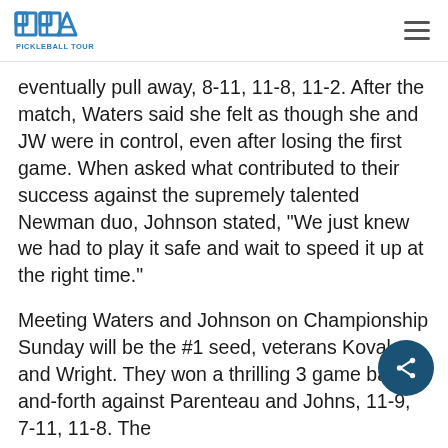PPA PICKLEBALL TOUR
eventually pull away, 8-11, 11-8, 11-2. After the match, Waters said she felt as though she and JW were in control, even after losing the first game. When asked what contributed to their success against the supremely talented Newman duo, Johnson stated, “We just knew we had to play it safe and wait to speed it up at the right time.”
Meeting Waters and Johnson on Championship Sunday will be the #1 seed, veterans Kovalova and Wright. They won a thrilling 3 game back-and-forth against Parenteau and Johns, 11-9, 7-11, 11-8. The